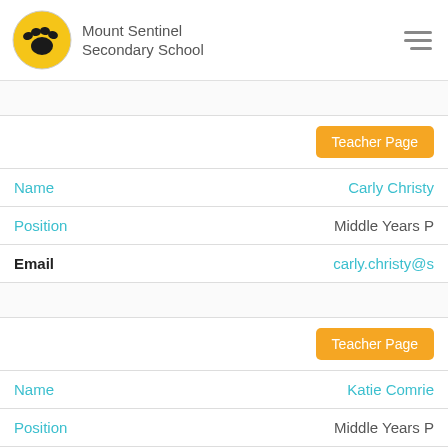Mount Sentinel Secondary School
|  | Teacher Page |
| Name | Carly Christy |
| Position | Middle Years P |
| Email | carly.christy@s |
|  |  |
|  | Teacher Page |
| Name | Katie Comrie |
| Position | Middle Years P |